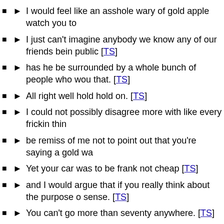I would feel like an asshole wary of gold apple watch you to
I just can't imagine anybody we know any of our friends bein public [TS]
has he be surrounded by a whole bunch of people who wou that. [TS]
All right well hold hold on. [TS]
I could not possibly disagree more with like every frickin thin
be remiss of me not to point out that you're saying a gold wa
Yet your car was to be frank not cheap [TS]
and I would argue that if you really think about the purpose o sense. [TS]
You can't go more than seventy anywhere. [TS]
Sure you can get to seventy very quickly but there's no purp